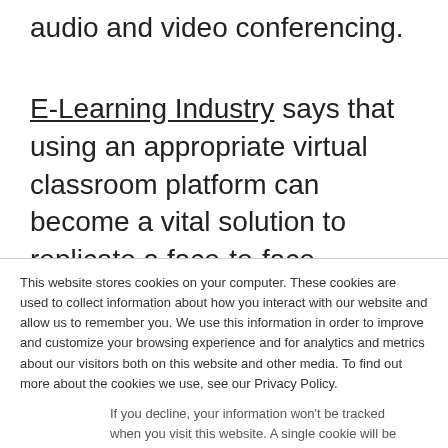audio and video conferencing.
E-Learning Industry says that using an appropriate virtual classroom platform can become a vital solution to replicate a face-to-face classroom lecture in a digital landscape. Although it may not recreate the
This website stores cookies on your computer. These cookies are used to collect information about how you interact with our website and allow us to remember you. We use this information in order to improve and customize your browsing experience and for analytics and metrics about our visitors both on this website and other media. To find out more about the cookies we use, see our Privacy Policy.
If you decline, your information won't be tracked when you visit this website. A single cookie will be used in your browser to remember your preference not to be tracked.